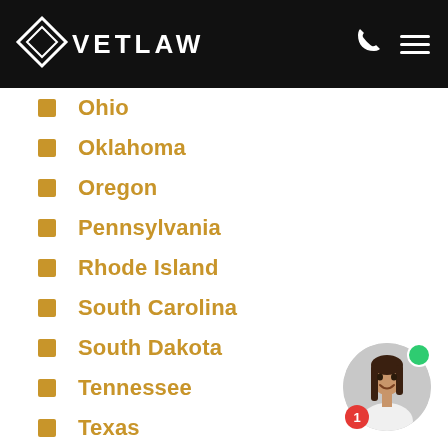[Figure (logo): VetLaw logo: diamond shape with VETLAW text in white on black header bar, with phone and hamburger menu icons]
Ohio
Oklahoma
Oregon
Pennsylvania
Rhode Island
South Carolina
South Dakota
Tennessee
Texas
Utah
[Figure (photo): Chat widget with circular photo of a smiling woman with long dark hair, green online indicator dot, and red badge showing number 1]